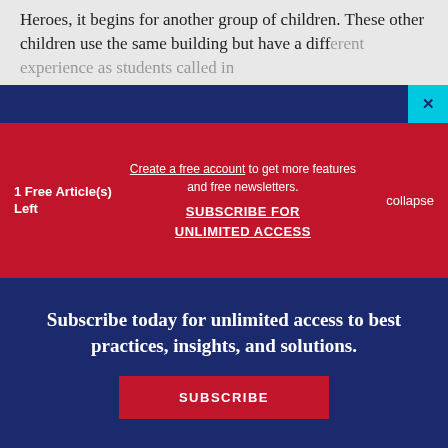Heroes, it begins for another group of children. These other children use the same building but have a different experience...
1 Free Article(s) Left
Create a free account to get more features and free newsletters. SUBSCRIBE FOR UNLIMITED ACCESS
collapse
Subscribe today for unlimited access to best practices, insights, and solutions.
SUBSCRIBE